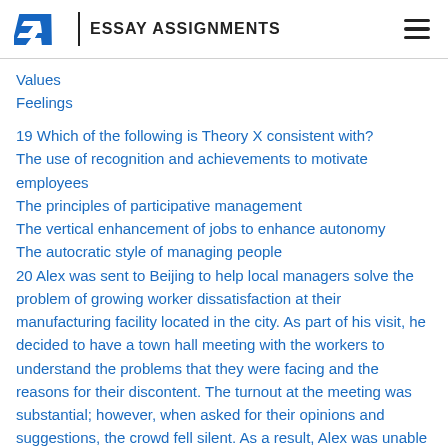EA | ESSAY ASSIGNMENTS
Values
Feelings
19 Which of the following is Theory X consistent with?
The use of recognition and achievements to motivate employees
The principles of participative management
The vertical enhancement of jobs to enhance autonomy
The autocratic style of managing people
20 Alex was sent to Beijing to help local managers solve the problem of growing worker dissatisfaction at their manufacturing facility located in the city. As part of his visit, he decided to have a town hall meeting with the workers to understand the problems that they were facing and the reasons for their discontent. The turnout at the meeting was substantial; however, when asked for their opinions and suggestions, the crowd fell silent. As a result, Alex was unable